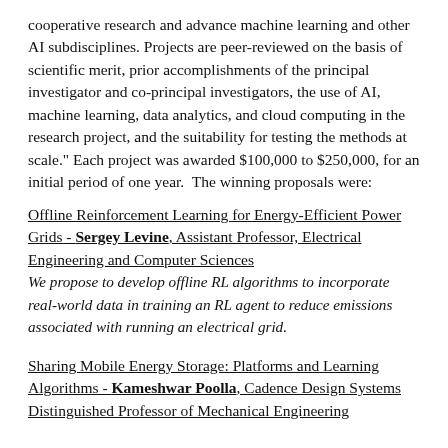cooperative research and advance machine learning and other AI subdisciplines. Projects are peer-reviewed on the basis of scientific merit, prior accomplishments of the principal investigator and co-principal investigators, the use of AI, machine learning, data analytics, and cloud computing in the research project, and the suitability for testing the methods at scale." Each project was awarded $100,000 to $250,000, for an initial period of one year.  The winning proposals were:
Offline Reinforcement Learning for Energy-Efficient Power Grids - Sergey Levine, Assistant Professor, Electrical Engineering and Computer Sciences
We propose to develop offline RL algorithms to incorporate real-world data in training an RL agent to reduce emissions associated with running an electrical grid.
Sharing Mobile Energy Storage: Platforms and Learning Algorithms - Kameshwar Poolla, Cadence Design Systems Distinguished Professor of Mechanical Engineering